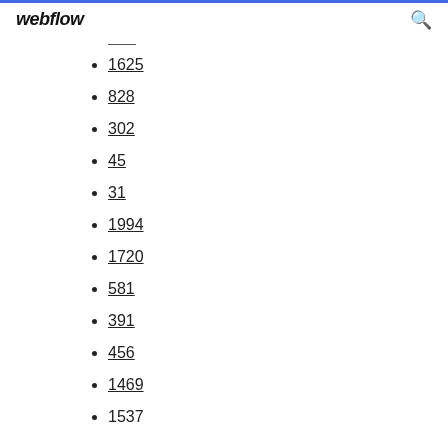webflow
1625
828
302
45
31
1994
1720
581
391
456
1469
1537